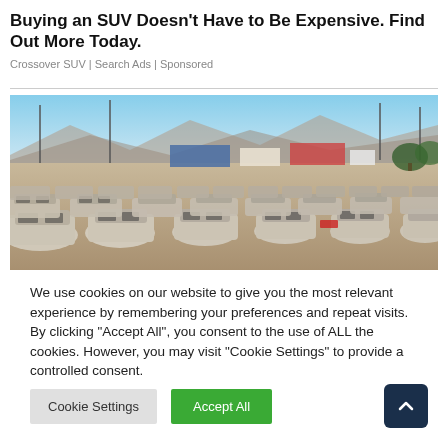Buying an SUV Doesn't Have to Be Expensive. Find Out More Today.
Crossover SUV | Search Ads | Sponsored
[Figure (photo): Aerial/ground view of a large parking lot filled with rows of white SUVs/cars, with mountains and buildings visible in the background under a blue sky.]
We use cookies on our website to give you the most relevant experience by remembering your preferences and repeat visits. By clicking "Accept All", you consent to the use of ALL the cookies. However, you may visit "Cookie Settings" to provide a controlled consent.